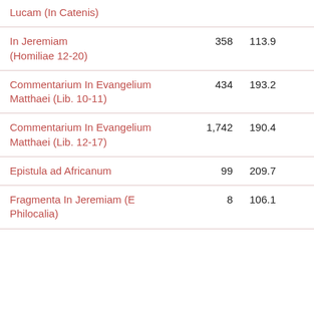| Work | Count | Avg Length | Flagged |
| --- | --- | --- | --- |
| Lucam (In Catenis) |  |  |  |
| In Jeremiam (Homiliae 12-20) | 358 | 113.9 | ● |
| Commentarium In Evangelium Matthaei (Lib. 10-11) | 434 | 193.2 |  |
| Commentarium In Evangelium Matthaei (Lib. 12-17) | 1,742 | 190.4 |  |
| Epistula ad Africanum | 99 | 209.7 |  |
| Fragmenta In Jeremiam (E Philocalia) | 8 | 106.1 | ● |